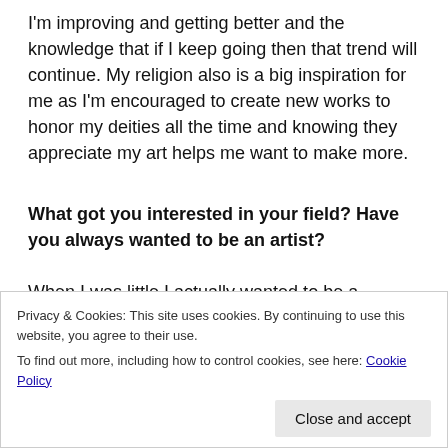I'm improving and getting better and the knowledge that if I keep going then that trend will continue. My religion also is a big inspiration for me as I'm encouraged to create new works to honor my deities all the time and knowing they appreciate my art helps me want to make more.
What got you interested in your field?  Have you always wanted to be an artist?
When I was little I actually wanted to be a scientist and get to study rocks. However I soon realized that doing things that required set steps that were always the same bored me. However since the moment I could read books have always been my escape and eventually I realized that
Privacy & Cookies: This site uses cookies. By continuing to use this website, you agree to their use.
To find out more, including how to control cookies, see here: Cookie Policy
Close and accept
Do you have any kind of special or unique signature,